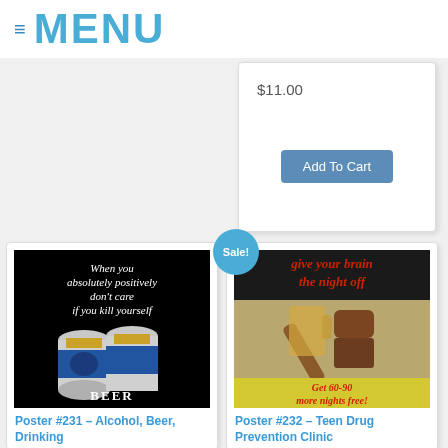≡ MENU
$11.00
Add To Cart
[Figure (photo): Alcohol prevention poster with beer cans on black background reading: When you absolutely positively don't care if you kill yourself — BEER]
Poster #231 – Alcohol, Beer, Drinking
[Figure (photo): Teen drug prevention poster showing a gavel and beer mug with text: Give your brain the night off / Get 60-90 more nights free! with Sale! badge]
Poster #232 – Teen Drug Prevention Clinic